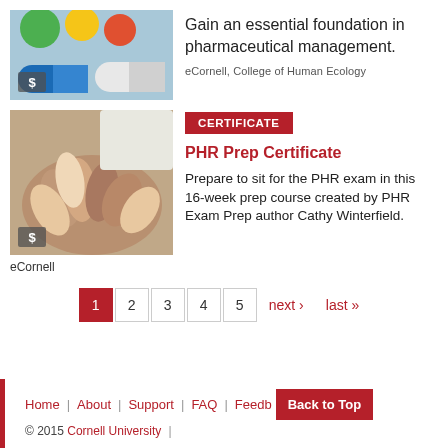[Figure (photo): Colorful pharmaceutical capsule pills, blue and other colors, with a dollar sign badge overlay]
Gain an essential foundation in pharmaceutical management.
eCornell, College of Human Ecology
[Figure (photo): Multiple hands joined together in a group gesture, with a dollar sign badge overlay]
CERTIFICATE
PHR Prep Certificate
Prepare to sit for the PHR exam in this 16-week prep course created by PHR Exam Prep author Cathy Winterfield.
eCornell
1 2 3 4 5 next › last »
Home | About | Support | FAQ | Feedback | Back to Top | © 2015 Cornell University |